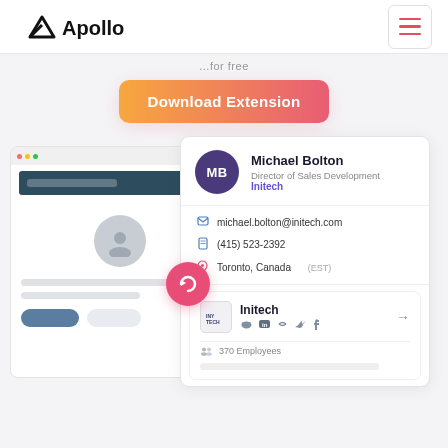[Figure (logo): Apollo logo - triangle/mountain mark with 'Apollo' text in black]
[Figure (screenshot): Hamburger menu button with three red horizontal lines in a bordered square]
...for free
Download Extension
[Figure (screenshot): Browser UI mockup showing a dark header bar, user avatar placeholder, content lines, and two buttons, with a pink refresh/sync circular button overlay. Apollo contact card showing: Michael Bolton, Director of Sales Development, Initech, michael.bolton@initech.com, (415) 523-2392, Toronto, Canada (EST). Company section: Initech, 370 Employees.]